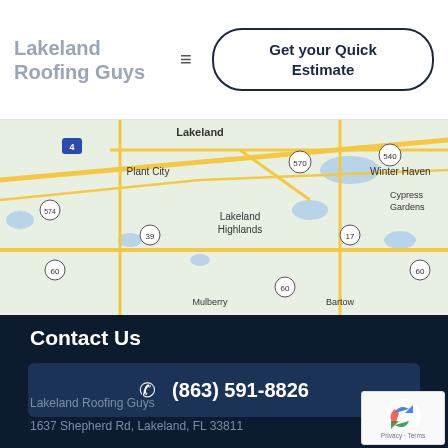Lakeland Roofing Guys
Get your Quick Estimate
[Figure (map): Google Maps view showing Lakeland, FL area including Plant City, Winter Haven, Cypress Gardens, Lakeland Highlands, Mulberry, Bartow, with highway markers 4, 574, 39, 60, 570, 540, 17, 60]
Contact Us
(863) 591-8826
Lakeland Roofing Guys
1637 Shepherd Rd, Lakeland, FL 33811